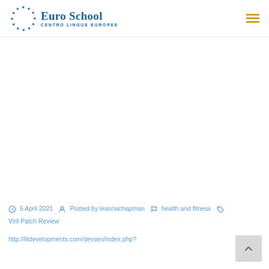Euro School — CENTRO LINGUE EUROPEE
5 April 2021  Posted by leannachapman  health and fitness  Viril Patch Review
http://litdevelopments.com/devseo/index.php?